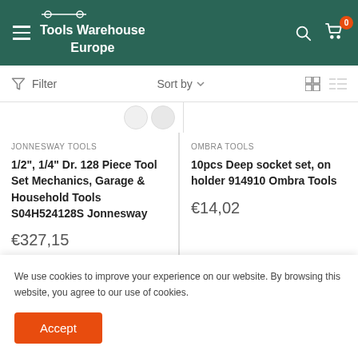Tools Warehouse Europe
Filter   Sort by
JONNESWAY TOOLS
1/2", 1/4" Dr. 128 Piece Tool Set Mechanics, Garage & Household Tools S04H524128S Jonnesway
€327,15
OMBRA TOOLS
10pcs Deep socket set, on holder 914910 Ombra Tools
€14,02
We use cookies to improve your experience on our website. By browsing this website, you agree to our use of cookies.